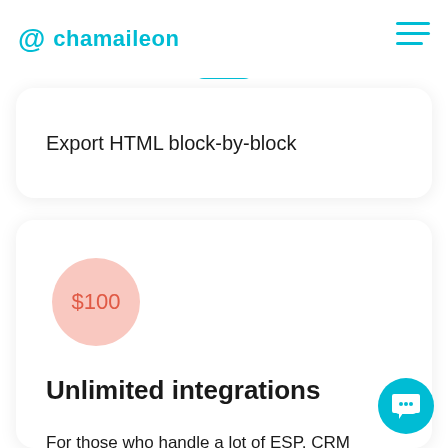chamaileon APP
Export HTML block-by-block
[Figure (infographic): $100 price circle badge in pink]
Unlimited integrations
For those who handle a lot of ESP, CRM connections